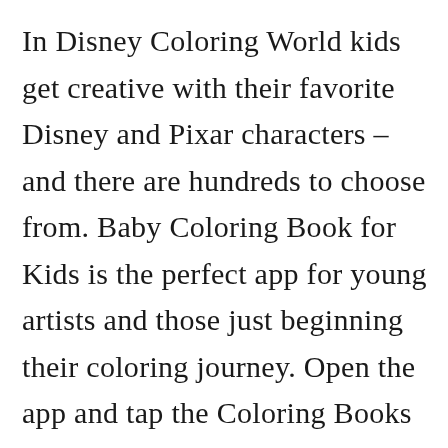In Disney Coloring World kids get creative with their favorite Disney and Pixar characters – and there are hundreds to choose from. Baby Coloring Book for Kids is the perfect app for young artists and those just beginning their coloring journey. Open the app and tap the Coloring Books to begin. There are nine alternatives to Color by Disney for a variety of platforms including iPhone iPad Android Android Tablet and Kindle Fire. Pin By Yolanda Espinosa On A Ipad Coloring Abc Co⊗ring Pages Disney